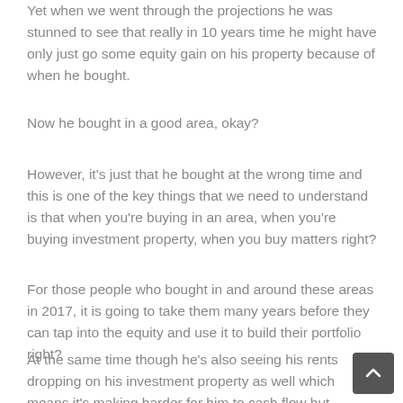Yet when we went through the projections he was stunned to see that really in 10 years time he might have only just go some equity gain on his property because of when he bought.
Now he bought in a good area, okay?
However, it's just that he bought at the wrong time and this is one of the key things that we need to understand is that when you're buying in an area, when you're buying investment property, when you buy matters right?
For those people who bought in and around these areas in 2017, it is going to take them many years before they can tap into the equity and use it to build their portfolio right?
At the same time though he's also seeing his rents dropping on his investment property as well which means it's making harder for him to cash flow but because the property has dropped in value, even though other lenders are giving him